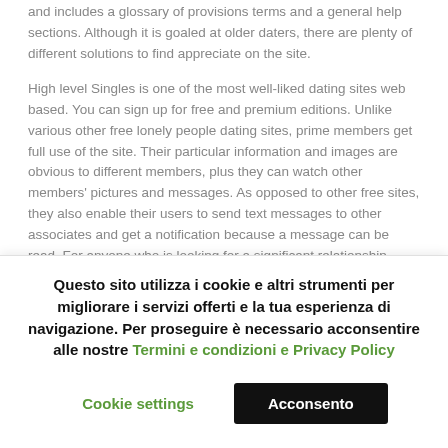and includes a glossary of provisions terms and a general help sections. Although it is goaled at older daters, there are plenty of different solutions to find appreciate on the site.
High level Singles is one of the most well-liked dating sites web based. You can sign up for free and premium editions. Unlike various other free lonely people dating sites, prime members get full use of the site. Their particular information and images are obvious to different members, plus they can watch other members' pictures and messages. As opposed to other free sites, they also enable their users to send text messages to other associates and get a notification because a message can be read. For anyone who is looking for a significant relationship, then you
Questo sito utilizza i cookie e altri strumenti per migliorare i servizi offerti e la tua esperienza di navigazione. Per proseguire è necessario acconsentire alle nostre Termini e condizioni e Privacy Policy